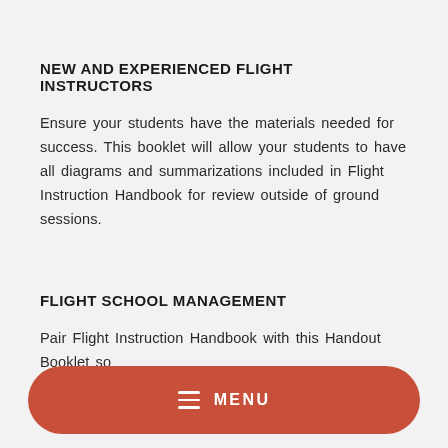NEW AND EXPERIENCED FLIGHT INSTRUCTORS
Ensure your students have the materials needed for success. This booklet will allow your students to have all diagrams and summarizations included in Flight Instruction Handbook for review outside of ground sessions.
FLIGHT SCHOOL MANAGEMENT
Pair Flight Instruction Handbook with this Handout Booklet so